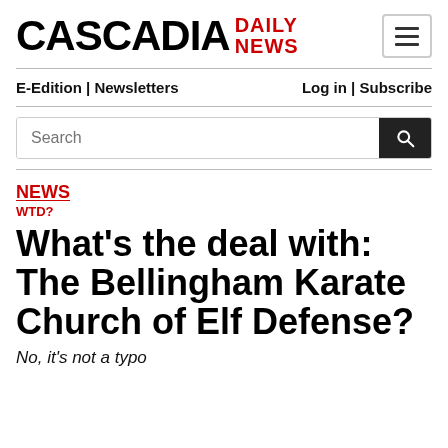CASCADIA DAILY NEWS
E-Edition | Newsletters   Log in | Subscribe
Search
NEWS
WTD?
What's the deal with: The Bellingham Karate Church of Elf Defense?
No, it's not a typo